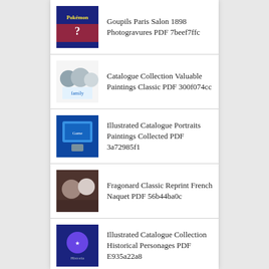Goupils Paris Salon 1898 Photogravures PDF 7beef7ffc
Catalogue Collection Valuable Paintings Classic PDF 300f074cc
Illustrated Catalogue Portraits Paintings Collected PDF 3a72985f1
Fragonard Classic Reprint French Naquet PDF 56b44ba0c
Illustrated Catalogue Collection Historical Personages PDF E935a22a8
Deutsche Museen Kulturgeschichtliche 96ffentlichen Kunstsammlungen PDF 8a9a1fff56